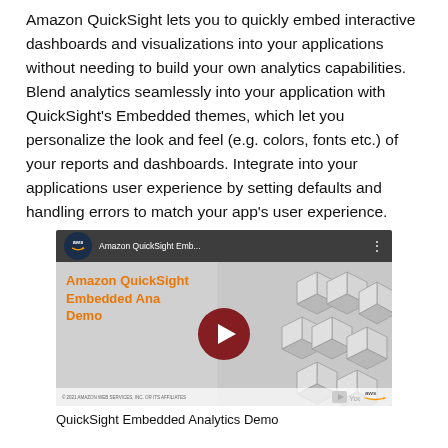Amazon QuickSight lets you to quickly embed interactive dashboards and visualizations into your applications without needing to build your own analytics capabilities. Blend analytics seamlessly into your application with QuickSight's Embedded themes, which let you personalize the look and feel (e.g. colors, fonts etc.) of your reports and dashboards. Integrate into your applications user experience by setting defaults and handling errors to match your app's user experience.
[Figure (screenshot): YouTube video thumbnail for Amazon QuickSight Embedded Analytics Demo showing AWS logo, orange overlay text reading 'Amazon QuickSight Embedded Analytics Demo', a red play button in the center, and geometric cube graphics on the right side.]
QuickSight Embedded Analytics Demo